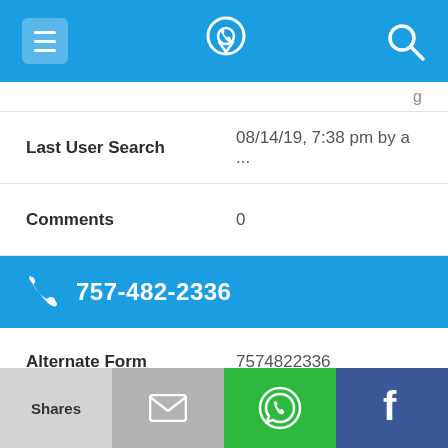Navigation bar with menu, phone location icon, and search icon
Last User Search    08/14/19, 7:38 pm by a ...
Comments    0
757-482-2336
Alternate Form    7574822336
Caller name    4 Listings found
Last User Search    03/04/17, 7:44 pm by a ...
Shares | [email icon] | [WhatsApp icon] | [Facebook icon]